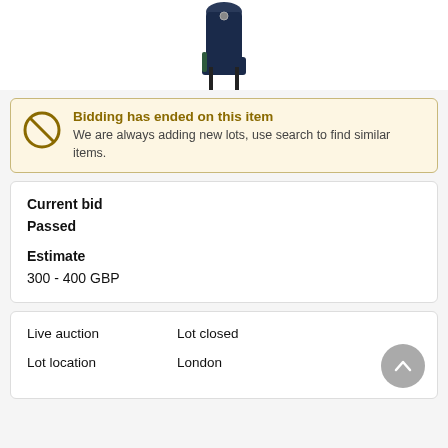[Figure (photo): Partial view of a dark navy blue garment or bag on a stand, cropped at the top of the page]
Bidding has ended on this item
We are always adding new lots, use search to find similar items.
Current bid
Passed
Estimate
300 - 400 GBP
Live auction	Lot closed
Lot location	London